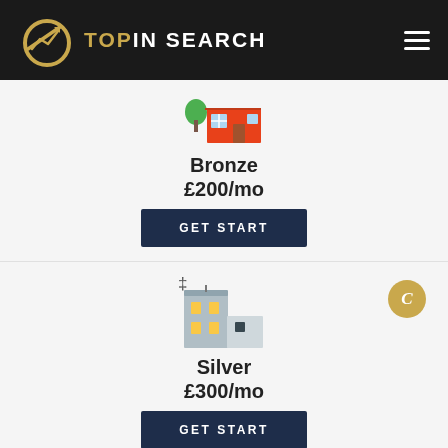TOPIN SEARCH
[Figure (illustration): Bronze tier icon: small house/shop illustration with orange walls, green tree, and blue windows]
Bronze
£200/mo
GET START
[Figure (illustration): Silver tier icon: multi-storey office/warehouse building with yellow and dark windows]
Silver
£300/mo
GET START
[Figure (illustration): Gold/third tier icon: tall teal office tower building (partially visible at bottom)]